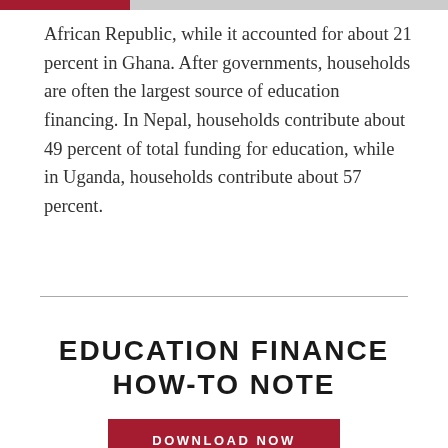African Republic, while it accounted for about 21 percent in Ghana. After governments, households are often the largest source of education financing. In Nepal, households contribute about 49 percent of total funding for education, while in Uganda, households contribute about 57 percent.
EDUCATION FINANCE HOW-TO NOTE
DOWNLOAD NOW